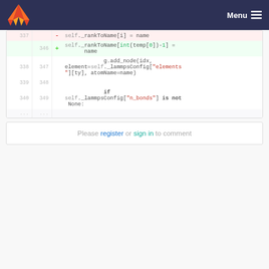GitLab navigation bar with logo and Menu button
[Figure (screenshot): Code diff view showing lines 337-349 of a Python file. Line 337 deleted: self._rankToName[i] = name. Line 346 added: self._rankToName[int(temp[0])-1] = name. Lines 338/347: g.add_node(idx, element=self._lammpsConfig["elements"][ty], atomName=name). Lines 339/348 empty. Lines 340/349: if self._lammpsConfig["n_bonds"] is not None:]
Please register or sign in to comment